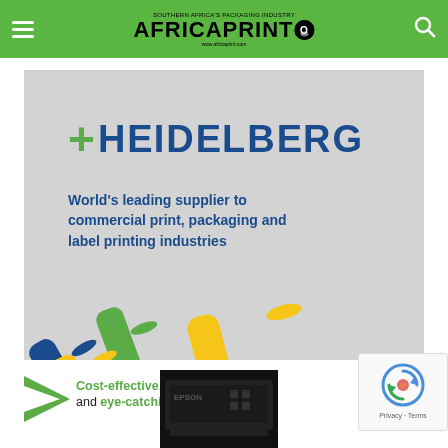Africa Print — navigation header with hamburger menu, logo, and search icon
[Figure (illustration): Heidelberg advertisement banner on grey background. Shows Heidelberg logo in dark blue with green plus symbol, tagline 'World's leading supplier to commercial print, packaging and label printing industries', and colorful crayon-like tubes (blue, green, yellow) at bottom.]
[Figure (illustration): Cost-effective, clear and eye-catching — Epson printer advertisement with green arrow logo and dark Epson device image]
[Figure (other): reCAPTCHA widget showing circular arrow logo with Privacy and Terms text]